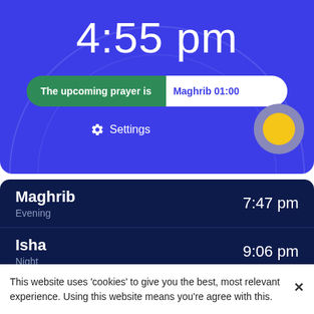[Figure (screenshot): Prayer times app widget showing current time 4:55 pm with upcoming Maghrib prayer in 01:00, sun position indicator, settings button, arc clock face on blue background]
4:55 pm
The upcoming prayer is Maghrib 01:00
Settings
Maghrib
Evening
7:47 pm
Isha
Night
9:06 pm
Prayer Times › Pennsylvania › Duncansville
This website uses 'cookies' to give you the best, most relevant experience. Using this website means you're agree with this.